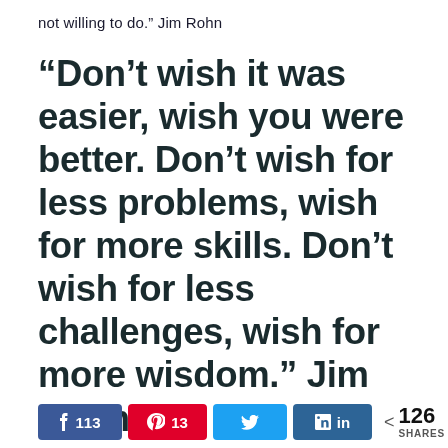not willing to do.” Jim Rohn
“Don’t wish it was easier, wish you were better. Don’t wish for less problems, wish for more skills. Don’t wish for less challenges, wish for more wisdom.” Jim Rohn
113  13  [Twitter]  in  < 126 SHARES